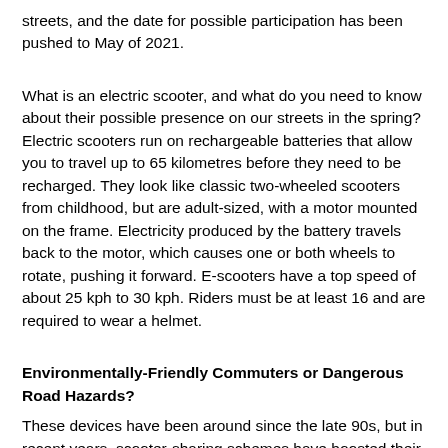streets, and the date for possible participation has been pushed to May of 2021.
What is an electric scooter, and what do you need to know about their possible presence on our streets in the spring? Electric scooters run on rechargeable batteries that allow you to travel up to 65 kilometres before they need to be recharged. They look like classic two-wheeled scooters from childhood, but are adult-sized, with a motor mounted on the frame. Electricity produced by the battery travels back to the motor, which causes one or both wheels to rotate, pushing it forward. E-scooters have a top speed of about 25 kph to 30 kph. Riders must be at least 16 and are required to wear a helmet.
Environmentally-Friendly Commuters or Dangerous Road Hazards?
These devices have been around since the late 90s, but in recent years, scooter-sharing schemes have boosted their popularity in cities such as San Francisco, Paris, and Copenhagen. Electric kick scooters appeal to a number of demographics; they're low-maintenance, cheap to operate, and relatively inexpensive to buy. (Canadian Tire sells a well-reviewed model for $529.99, for example.)